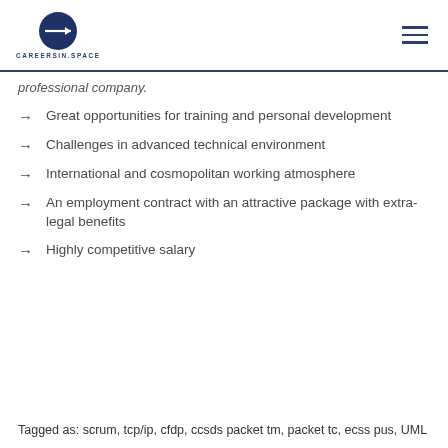CAREERSIN.SPACE
professional company.
Great opportunities for training and personal development
Challenges in advanced technical environment
International and cosmopolitan working atmosphere
An employment contract with an attractive package with extra-legal benefits
Highly competitive salary
Tagged as: scrum, tcp/ip, cfdp, ccsds packet tm, packet tc, ecss pus, UML